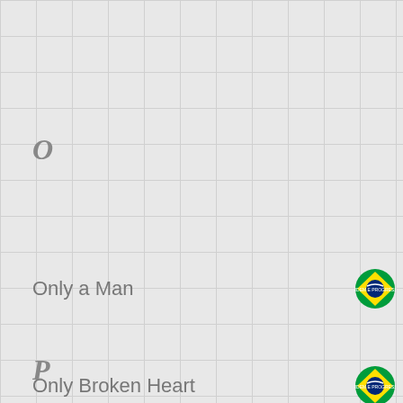O
Only a Man
Only Broken Heart
Ordeal Of Death
P